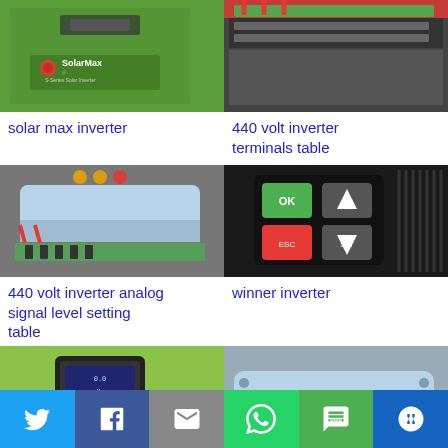[Figure (photo): SolarMax S-Series Solar Inverter, green casing with logo]
[Figure (photo): 440 volt inverter terminals close-up, dark industrial device with terminal block]
solar max inverter
440 volt inverter terminals table
[Figure (photo): 440 volt inverter analog signal level setting, close-up of gray/blue casing]
[Figure (photo): Winner inverter control panel with green and red buttons and arrows]
440 volt inverter analog signal level setting table
winner inverter
[Figure (photo): Green inverter device with display screen]
[Figure (photo): Light blue/gray inverter casing close-up]
Twitter | Facebook | Email | WhatsApp | SMS | More